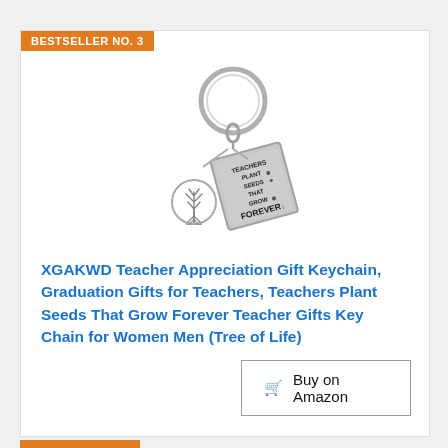BESTSELLER NO. 3
[Figure (photo): Silver keychain with a square metal tag engraved with 'TEACHERS PLANT SEEDS THAT GROW FOREVER' and a tree of life charm, hanging from a round silver ring.]
XGAKWD Teacher Appreciation Gift Keychain, Graduation Gifts for Teachers, Teachers Plant Seeds That Grow Forever Teacher Gifts Key Chain for Women Men (Tree of Life)
$8.99 Prime
Buy on Amazon